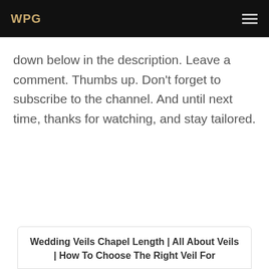WPG
down below in the description. Leave a comment. Thumbs up. Don't forget to subscribe to the channel. And until next time, thanks for watching, and stay tailored.
Wedding Veils Chapel Length | All About Veils | How To Choose The Right Veil For